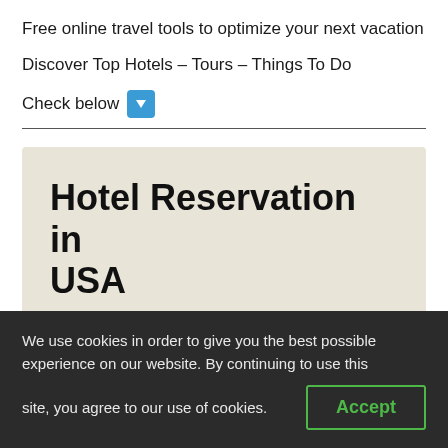Free online travel tools to optimize your next vacation
Discover Top Hotels – Tours – Things To Do
Check below ⬇
Hotel Reservation in USA 🍀
We use cookies in order to give you the best possible experience on our website. By continuing to use this site, you agree to our use of cookies.